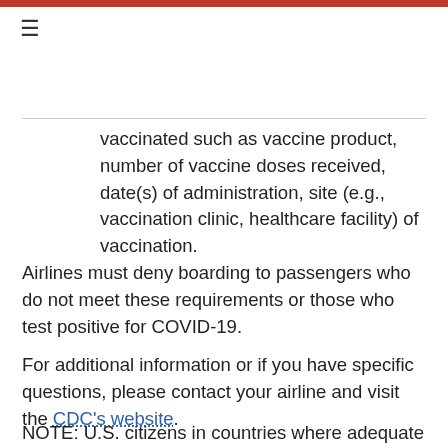vaccinated such as vaccine product, number of vaccine doses received, date(s) of administration, site (e.g., vaccination clinic, healthcare facility) of vaccination.
Airlines must deny boarding to passengers who do not meet these requirements or those who test positive for COVID-19.
For additional information or if you have specific questions, please contact your airline and visit the CDC's website.
NOTE: U.S. citizens in countries where adequate COVID-19 testing is not available or who may not be able to satisfy